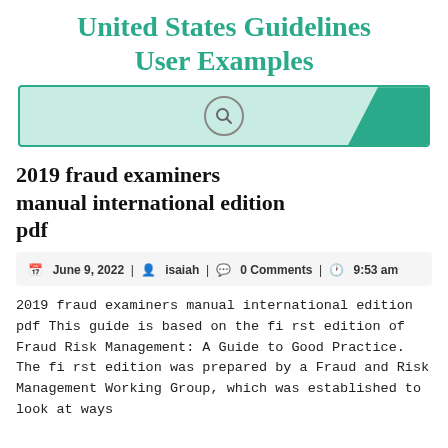United States Guidelines User Examples
[Figure (other): Search bar with teal background, magnifying glass icon, and teal corner accent]
2019 fraud examiners manual international edition pdf
June 9, 2022 | isaiah | 0 Comments | 9:53 am
2019 fraud examiners manual international edition pdf This guide is based on the fi rst edition of Fraud Risk Management: A Guide to Good Practice. The fi rst edition was prepared by a Fraud and Risk Management Working Group, which was established to look at ways